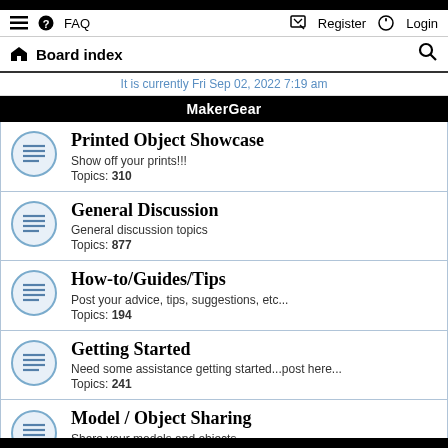≡  FAQ    Register  Login
Board index
It is currently Fri Sep 02, 2022 7:19 am
MakerGear
Printed Object Showcase
Show off your prints!!!
Topics: 310
General Discussion
General discussion topics
Topics: 877
How-to/Guides/Tips
Post your advice, tips, suggestions, etc...
Topics: 194
Getting Started
Need some assistance getting started...post here...
Topics: 241
Model / Object Sharing
Share your models and objects...
Topics: 78